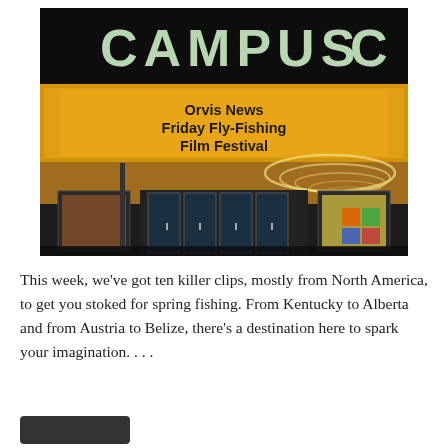[Figure (photo): Nighttime photo of a movie theater marquee reading 'CAMPUS' with a yellow illuminated sign below showing 'Orvis News Friday Fly-Fishing Film Festival'. The theater has glass doors at the entrance and movie posters on either side.]
This week, we've got ten killer clips, mostly from North America, to get you stoked for spring fishing. From Kentucky to Alberta and from Austria to Belize, there's a destination here to spark your imagination. . . .